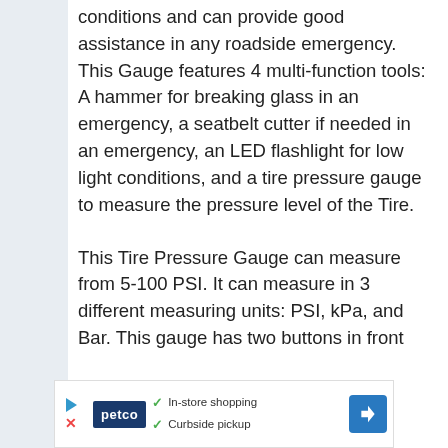conditions and can provide good assistance in any roadside emergency. This Gauge features 4 multi-function tools: A hammer for breaking glass in an emergency, a seatbelt cutter if needed in an emergency, an LED flashlight for low light conditions, and a tire pressure gauge to measure the pressure level of the Tire.
This Tire Pressure Gauge can measure from 5-100 PSI. It can measure in 3 different measuring units: PSI, kPa, and Bar. This gauge has two buttons in front
[Figure (other): Advertisement banner for Petco showing in-store shopping and curbside pickup options with play button, Petco logo, checkmarks, and navigation arrow]